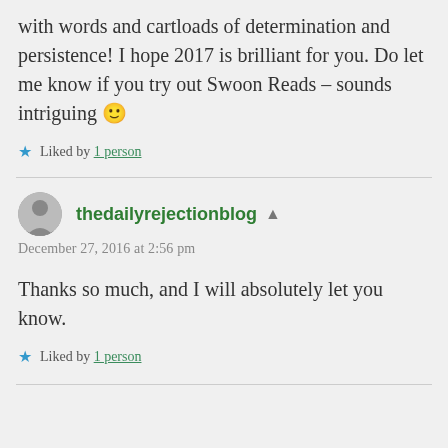with words and cartloads of determination and persistence! I hope 2017 is brilliant for you. Do let me know if you try out Swoon Reads – sounds intriguing 🙂
Liked by 1 person
thedailyrejectionblog
December 27, 2016 at 2:56 pm
Thanks so much, and I will absolutely let you know.
Liked by 1 person